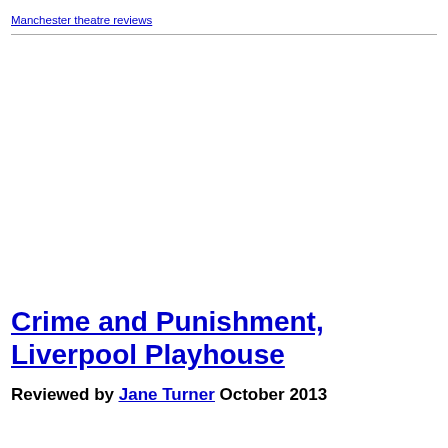Manchester theatre reviews
Crime and Punishment, Liverpool Playhouse
Reviewed by Jane Turner October 2013